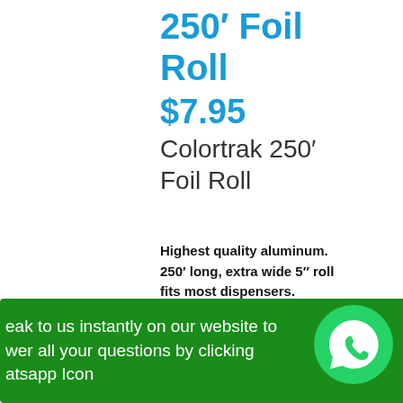250′ Foil Roll
$7.95
Colortrak 250′ Foil Roll
Highest quality aluminum. 250′ long, extra wide 5″ roll fits most dispensers.
eak to us instantly on our website to wer all your questions by clicking atsapp Icon
n box cuts foil to precise lengths